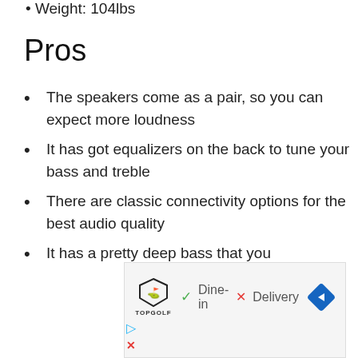Weight: 104lbs
Pros
The speakers come as a pair, so you can expect more loudness
It has got equalizers on the back to tune your bass and treble
There are classic connectivity options for the best audio quality
It has a pretty deep bass that you
[Figure (other): Topgolf advertisement banner showing logo, Dine-in checkmark, Delivery X mark, and navigation arrow icon]